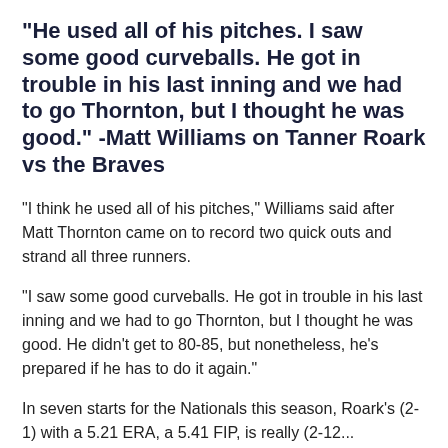"He used all of his pitches. I saw some good curveballs. He got in trouble in his last inning and we had to go Thornton, but I thought he was good." -Matt Williams on Tanner Roark vs the Braves
"I think he used all of his pitches," Williams said after Matt Thornton came on to record two quick outs and strand all three runners.
"I saw some good curveballs. He got in trouble in his last inning and we had to go Thornton, but I thought he was good. He didn't get to 80-85, but nonetheless, he's prepared if he has to do it again."
In seven starts for the Nationals this season, Roark's (2-1) with a 5.21 ERA, a 5.41 FIP, is really (2-12...